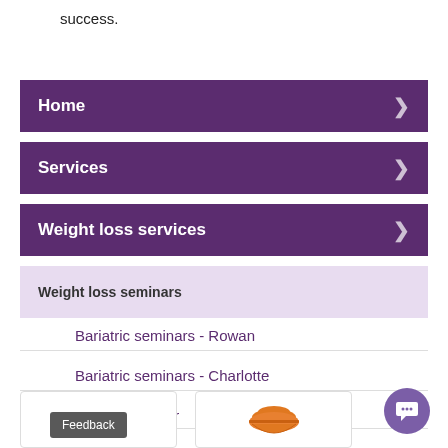success.
Home
Services
Weight loss services
Weight loss seminars
Bariatric seminars - Rowan
Bariatric seminars - Charlotte
Orbera seminar
Feedback